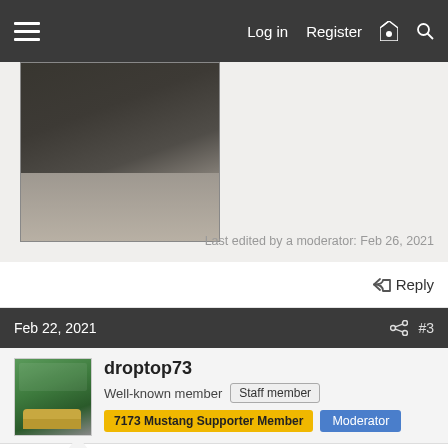Log in  Register
[Figure (photo): Dark automotive carpet or mat lying on concrete floor]
Last edited by a moderator: Feb 26, 2021
Reply
Feb 22, 2021  #3
droptop73
Well-known member  Staff member
7173 Mustang Supporter Member  Moderator
Hi David, that's basically the same set-up I'm running except I went with the 3.8 V6 bell housing. The main difference is a 10.5 vs 11" clutch, believe it or not the V6 has an 11" clutch. I